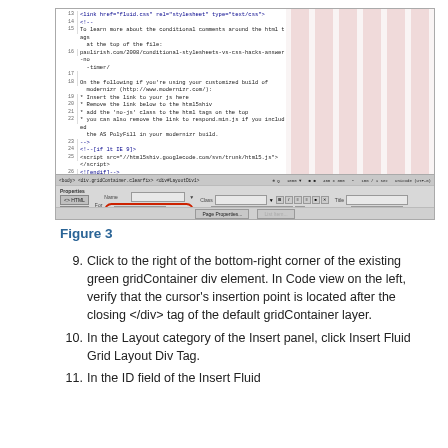[Figure (screenshot): Dreamweaver code/design split view showing HTML code in left pane with grid container markup, and a grid layout with pink columns in the right design pane. Properties panel visible at bottom showing HTML properties with a circled 'inputs1' ID field.]
Figure 3
9. Click to the right of the bottom-right corner of the existing green gridContainer div element. In Code view on the left, verify that the cursor's insertion point is located after the closing </div> tag of the default gridContainer layer.
10. In the Layout category of the Insert panel, click Insert Fluid Grid Layout Div Tag.
11. In the ID field of the Insert Fluid